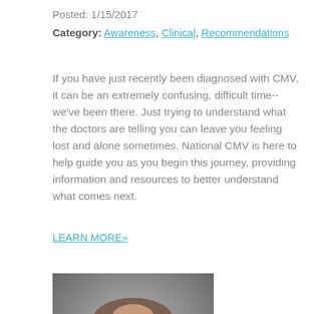Posted: 1/15/2017
Category: Awareness, Clinical, Recommendations
If you have just recently been diagnosed with CMV, it can be an extremely confusing, difficult time--we've been there. Just trying to understand what the doctors are telling you can leave you feeling lost and alone sometimes. National CMV is here to help guide you as you begin this journey, providing information and resources to better understand what comes next.
LEARN MORE»
[Figure (photo): Portrait photo of an older man with thinning gray-brown hair, wearing glasses, against a gray background]